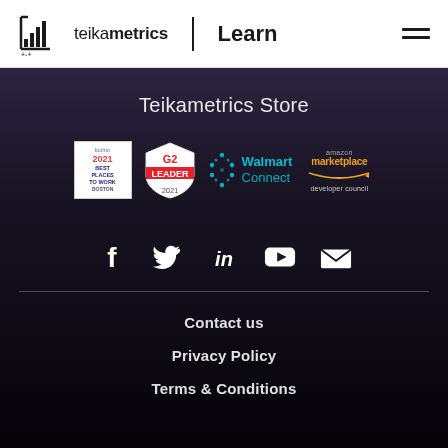teikametrics | Learn
Teikametrics Store
[Figure (logo): Row of partner/award badges: builtin 2021 Best Places to Work Boston, G2 Leader 2021 shield, Walmart Connect logo, Amazon Marketplace developer council logo]
[Figure (infographic): Social media icons row: Facebook, Twitter, LinkedIn, YouTube, Email]
Contact us
Privacy Policy
Terms & Conditions